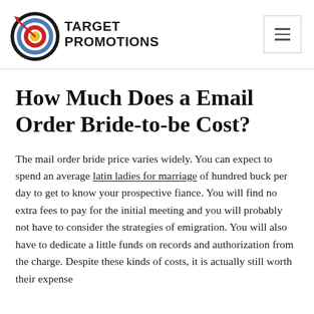[Figure (logo): Target Promotions logo: bullseye target with arrow and text 'TARGET PROMOTIONS' in bold black]
How Much Does a Email Order Bride-to-be Cost?
The mail order bride price varies widely. You can expect to spend an average latin ladies for marriage of hundred buck per day to get to know your prospective fiance. You will find no extra fees to pay for the initial meeting and you will probably not have to consider the strategies of emigration. You will also have to dedicate a little funds on records and authorization from the charge. Despite these kinds of costs, it is actually still worth their expense